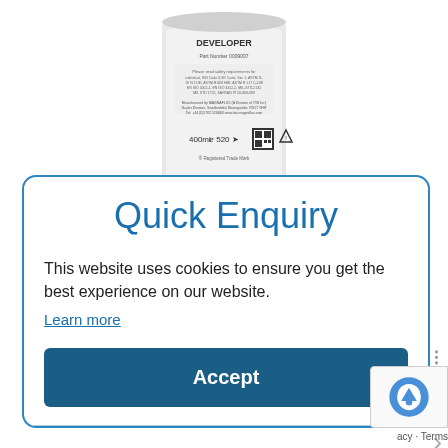[Figure (photo): Product can labeled 'DEVELOPER', a white cylindrical aerosol/spray can with text and a QR code, 400ml, shown from the back/side label.]
Quick Enquiry
This website uses cookies to ensure you get the best experience on our website.
Learn more
Accept